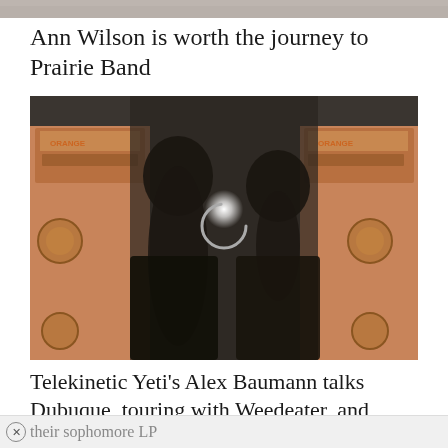[Figure (photo): Top cropped banner photo, partially visible]
Ann Wilson is worth the journey to Prairie Band
[Figure (photo): Two long-haired men standing in front of Orange amplifiers in a dark studio setting with a bright light between them and a loading circle overlay]
Telekinetic Yeti's Alex Baumann talks Dubuque, touring with Weedeater, and their sophomore LP